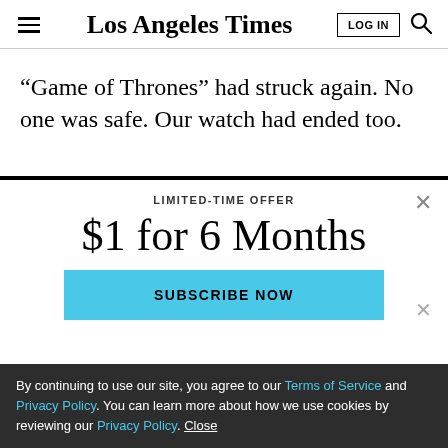Los Angeles Times | LOG IN
“Game of Thrones” had struck again. No one was safe. Our watch had ended too.
LIMITED-TIME OFFER
$1 for 6 Months
SUBSCRIBE NOW
By continuing to use our site, you agree to our Terms of Service and Privacy Policy. You can learn more about how we use cookies by reviewing our Privacy Policy. Close